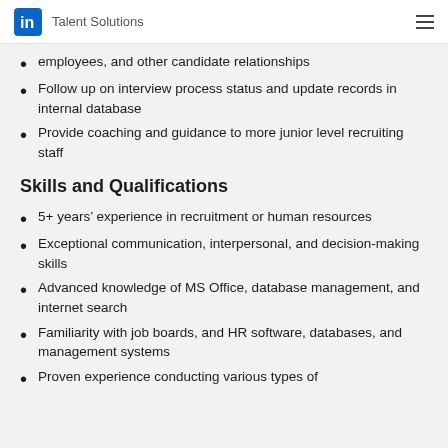LinkedIn Talent Solutions
employees, and other candidate relationships
Follow up on interview process status and update records in internal database
Provide coaching and guidance to more junior level recruiting staff
Skills and Qualifications
5+ years' experience in recruitment or human resources
Exceptional communication, interpersonal, and decision-making skills
Advanced knowledge of MS Office, database management, and internet search
Familiarity with job boards, and HR software, databases, and management systems
Proven experience conducting various types of